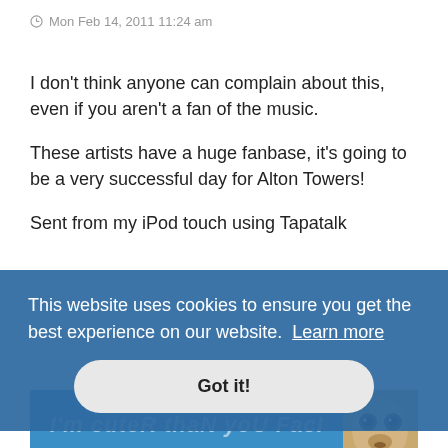Mon Feb 14, 2011 11:24 am
I don't think anyone can complain about this, even if you aren't a fan of the music.

These artists have a huge fanbase, it's going to be a very successful day for Alton Towers!

Sent from my iPod touch using Tapatalk
[Figure (photo): Blue background image with pug dog and overlaid italic text reading 'I'm cuteR thaN yoU FacI']
This website uses cookies to ensure you get the best experience on our website. Learn more
Got it!